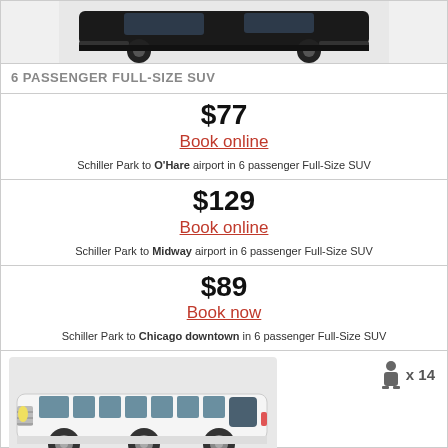[Figure (photo): Partial photo of a black full-size SUV (top portion cropped)]
6 PASSENGER FULL-SIZE SUV
$77
Book online
Schiller Park to O'Hare airport in 6 passenger Full-Size SUV
$129
Book online
Schiller Park to Midway airport in 6 passenger Full-Size SUV
$89
Book now
Schiller Park to Chicago downtown in 6 passenger Full-Size SUV
[Figure (photo): White stretch Lincoln Navigator limousine, side view]
x 14
14 PASSENGER LINCOLN NAVIGATOR